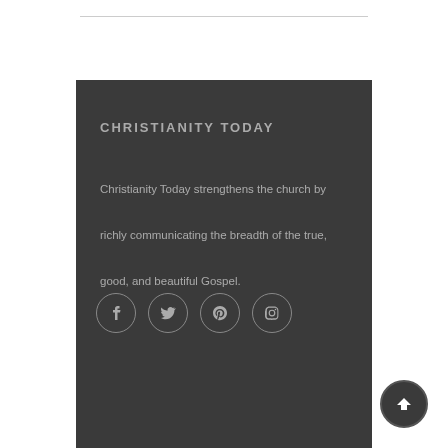CHRISTIANITY TODAY
Christianity Today strengthens the church by richly communicating the breadth of the true, good, and beautiful Gospel.
[Figure (infographic): Four social media icon circles: Facebook (f), Twitter (bird), Pinterest (P), Instagram (camera)]
[Figure (other): Back to top button — dark circle with upward arrow]